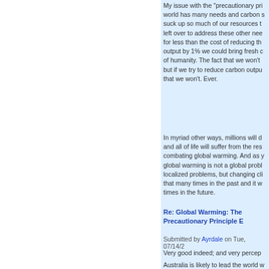My issue with the "precautionary principle" ... world has many needs and carbon s... suck up so much of our resources t... left over to address these other nee... for less than the cost of reducing th... output by 1% we could bring fresh c... of humanity. The fact that we won't ... but if we try to reduce carbon outpu... that we won't. Ever.
In myriad other ways, millions will d... and all of life will suffer from the res... combating global warming. And as y... global warming is not a global probl... localized problems, but changing cli... that many times in the past and it w... times in the future.
Re: Global Warming: The Precautionary Principle B...
Submitted by Ayrdale on Tue, 07/14/2...
Very good indeed; and very percep...
Australia is likely to lead the world w...